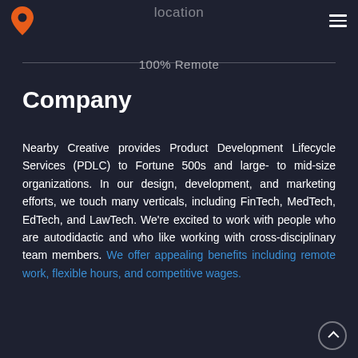location / 100% Remote
Company
Nearby Creative provides Product Development Lifecycle Services (PDLC) to Fortune 500s and large- to mid-size organizations. In our design, development, and marketing efforts, we touch many verticals, including FinTech, MedTech, EdTech, and LawTech. We're excited to work with people who are autodidactic and who like working with cross-disciplinary team members. We offer appealing benefits including remote work, flexible hours, and competitive wages.